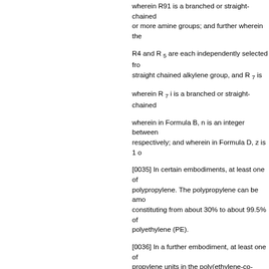wherein R91 is a branched or straight-chained or more amine groups; and further wherein the
R4 and R 5 are each independently selected from straight chained alkylene group, and R 7 is
wherein R 7 i is a branched or straight-chained
wherein in Formula B, n is an integer between respectively; and wherein in Formula D, z is 1 o
[0035] In certain embodiments, at least one of polypropylene. The polypropylene can be amo constituting from about 30% to about 99.5% of polyethylene (PE).
[0036] In a further embodiment, at least one of propylene units in the poly(ethylene-co-propyle and about 99 to about 10 mole % propylene un 10 mole % propylene units. In certain embodim
[0037] In some embodiments of the above met g/mol (assuming one olefin unsaturation per ch
Alternatively, at least one of Ri, R71, and R91 c PP or EP included in the Ri, R71 or R91 of the embodiment, the PP or EP groups have a mole weight of from about 800 to about 1000 g/mol,
[0038] In other embodiments of the compounds including two or more carbon atoms on each si 1-nonene, 1-decene, 1-undecene, 1-dodecene